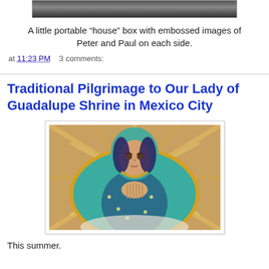[Figure (photo): Top portion of a photograph showing a dark artifact/box]
A little portable "house" box with embossed images of Peter and Paul on each side.
at 11:23 PM   3 comments:
Traditional Pilgrimage to Our Lady of Guadalupe Shrine in Mexico City
[Figure (photo): Painting or image of Our Lady of Guadalupe in teal/turquoise robe with hands clasped in prayer, surrounded by golden rays]
This summer.